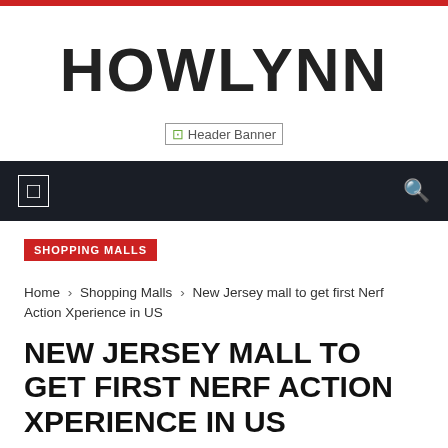HOWLYNN
[Figure (other): Header Banner placeholder image]
SHOPPING MALLS
Home › Shopping Malls › New Jersey mall to get first Nerf Action Xperience in US
NEW JERSEY MALL TO GET FIRST NERF ACTION XPERIENCE IN US
0  0